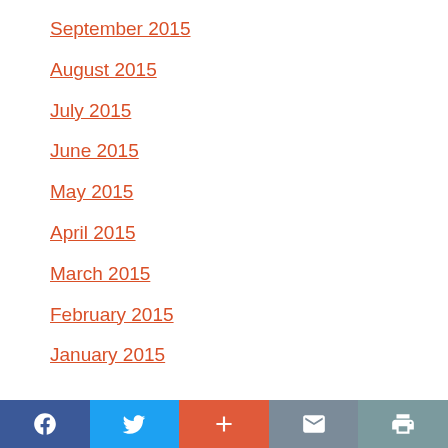September 2015
August 2015
July 2015
June 2015
May 2015
April 2015
March 2015
February 2015
January 2015
Social share bar: Facebook, Twitter, Plus, Email, Print